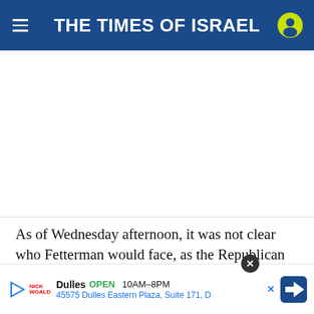THE TIMES OF ISRAEL
[Figure (other): Advertisement placeholder area (white space)]
As of Wednesday afternoon, it was not clear who Fetterman would face, as the Republican remained too close to call. Trump-backed Dr. Mehmet Oz won 31.3% of the vote to hedge fund manager Dave McCo[rmick, close to a coin, but no winner has been decla]nted. Penns[ylvania's primary law requires a recount in such an even]t
[Figure (other): Overlay advertisement: Dulles store, OPEN 10AM-8PM, 45575 Dulles Eastern Plaza, Suite 171, D, with navigation arrow icon and close button]